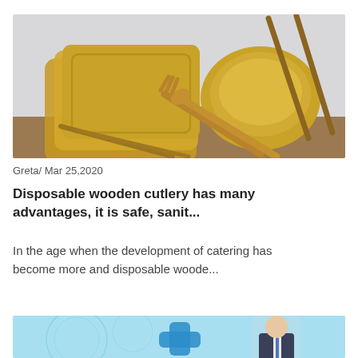[Figure (photo): Photo of disposable wooden cutlery: square palm leaf plates, a round bowl, wooden fork and spoon, and wooden chopsticks on a light background.]
Greta/ Mar 25,2020
Disposable wooden cutlery has many advantages, it is safe, sanit...
In the age when the development of catering has become more and disposable woode...
[Figure (photo): Partial photo showing a medical/health themed image with a light blue background, a person in a suit with a tie, and a blue cross/plus symbol.]